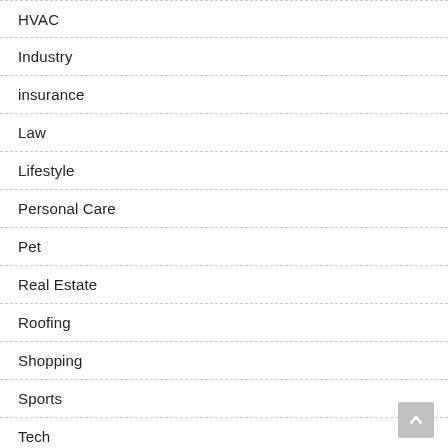HVAC
Industry
insurance
Law
Lifestyle
Personal Care
Pet
Real Estate
Roofing
Shopping
Sports
Tech